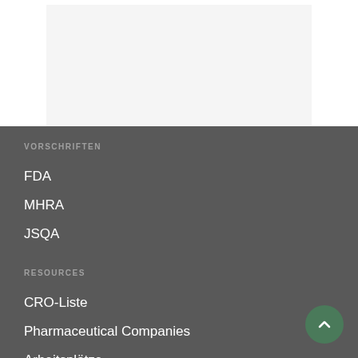[Figure (other): Light gray rectangular box on white background representing a content/image placeholder area at the top of the page]
VORSCHRIFTEN
FDA
MHRA
JSQA
RESOURCES
CRO-Liste
Pharmaceutical Companies
Arbeitsplätze
US-Register für klinische Studien